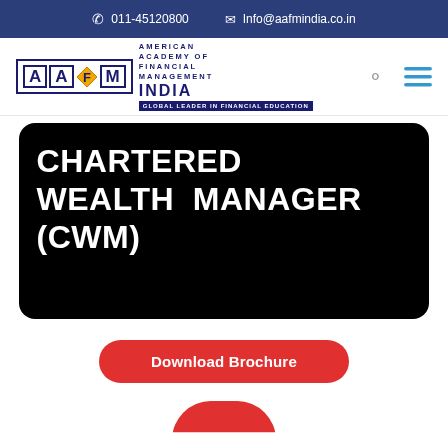011-45120800   Info@aafmindia.co.in
[Figure (logo): AAFM India logo - American Academy of Financial Management India, Global Leader in Financial Education]
CHARTERED WEALTH MANAGER (CWM)
Download Brochure